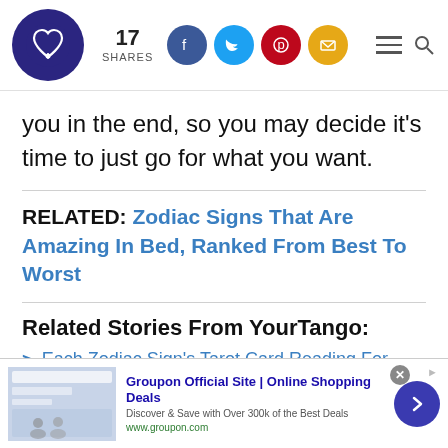17 SHARES — social sharing bar with Facebook, Twitter, Pinterest, Email icons
you in the end, so you may decide it's time to just go for what you want.
RELATED: Zodiac Signs That Are Amazing In Bed, Ranked From Best To Worst
Related Stories From YourTango:
> Each Zodiac Sign's Tarot Card Reading For
[Figure (screenshot): Groupon advertisement banner: Groupon Official Site | Online Shopping Deals. Discover & Save with Over 300k of the Best Deals. www.groupon.com]